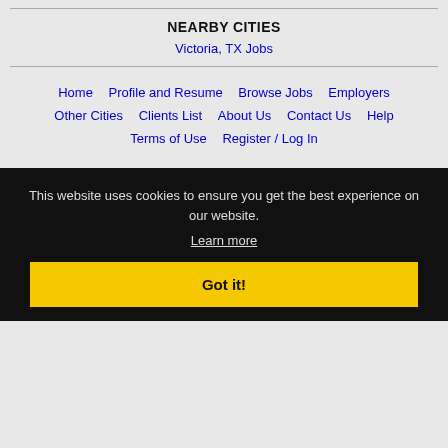NEARBY CITIES
Victoria, TX Jobs
Home  Profile and Resume  Browse Jobs  Employers  Other Cities  Clients List  About Us  Contact Us  Help  Terms of Use  Register / Log In
This website uses cookies to ensure you get the best experience on our website.
Learn more
Got it!